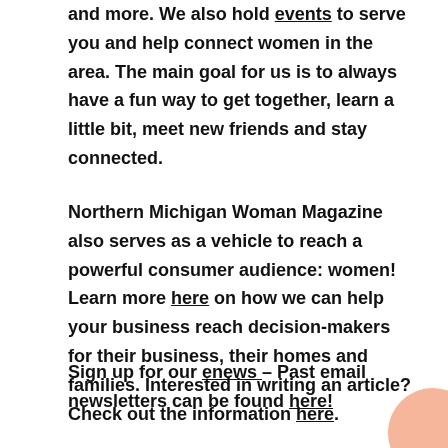and more. We also hold events to serve you and help connect women in the area. The main goal for us is to always have a fun way to get together, learn a little bit, meet new friends and stay connected.
Northern Michigan Woman Magazine also serves as a vehicle to reach a powerful consumer audience: women! Learn more here on how we can help your business reach decision-makers for their business, their homes and families. Interested in writing an article? Check out the information here.
Sign up for our enews – Past email newsletters can be found here!